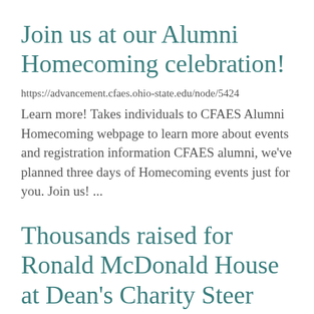Join us at our Alumni Homecoming celebration!
https://advancement.cfaes.ohio-state.edu/node/5424
Learn more! Takes individuals to CFAES Alumni Homecoming webpage to learn more about events and registration information CFAES alumni, we've planned three days of Homecoming events just for you. Join us! ...
Thousands raised for Ronald McDonald House at Dean's Charity Steer Show